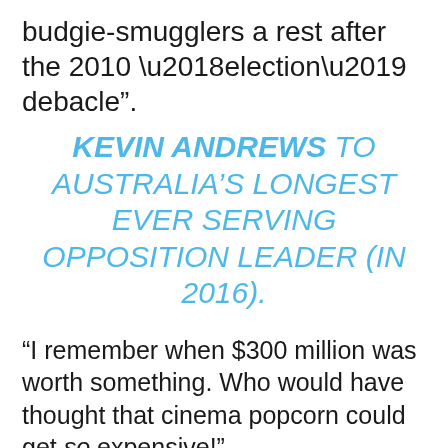budgie-smugglers a rest after the 2010 ‘election’ debacle”.
KEVIN ANDREWS TO AUSTRALIA’S LONGEST EVER SERVING OPPOSITION LEADER (IN 2016).
“I remember when $300 million was worth something. Who would have thought that cinema popcorn could get so expensive!”